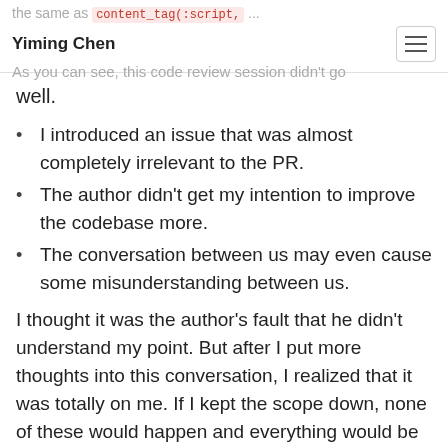the same as `content_tag(:script, ...` | Yiming Chen
As you can see, this code review session didn't go well.
I introduced an issue that was almost completely irrelevant to the PR.
The author didn't get my intention to improve the codebase more.
The conversation between us may even cause some misunderstanding between us.
I thought it was the author's fault that he didn't understand my point. But after I put more thoughts into this conversation, I realized that it was totally on me. If I kept the scope down, none of these would happen and everything would be better.
The code is already in a better shape with the javascript_tag change. And I shouldn't have